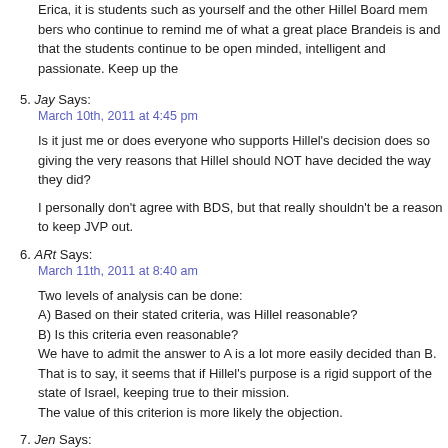Erica, it is students such as yourself and the other Hillel Board members who continue to remind me of what a great place Brandeis is and that the students continue to be open minded, intelligent and passionate. Keep up the
5. Jay Says:
March 10th, 2011 at 4:45 pm
Is it just me or does everyone who supports Hillel's decision does so giving the very reasons that Hillel should NOT have decided the way they did?
I personally don't agree with BDS, but that really shouldn't be a reason to keep JVP out.
6. ARt Says:
March 11th, 2011 at 8:40 am
Two levels of analysis can be done:
A) Based on their stated criteria, was Hillel reasonable?
B) Is this criteria even reasonable?
We have to admit the answer to A is a lot more easily decided than B. That is to say, it seems that if Hillel's purpose is a rigid support of the state of Israel, keeping true to their mission.
The value of this criterion is more likely the objection.
7. Jen Says:
March 11th, 2011 at 9:01 am
Hey “Brandeisian”…